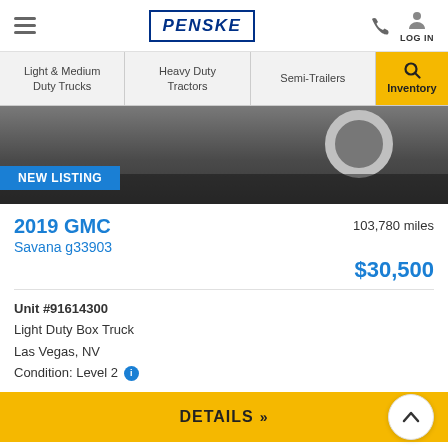PENSKE — Navigation bar with hamburger menu, Penske logo, phone icon, and LOG IN
Light & Medium Duty Trucks | Heavy Duty Tractors | Semi-Trailers | Inventory (active)
[Figure (photo): Partial view of a truck with tire visible, dark asphalt background, blue NEW LISTING badge overlay]
2019 GMC Savana g33903
103,780 miles
$30,500
Unit #91614300
Light Duty Box Truck
Las Vegas, NV
Condition: Level 2
DETAILS »